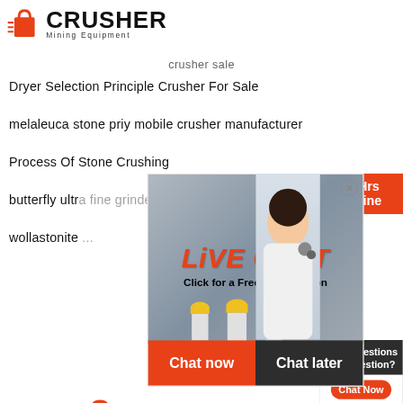[Figure (logo): Crusher Mining Equipment logo with red shopping bag icon and bold CRUSHER text]
crusher sale
Dryer Selection Principle Crusher For Sale
melaleuca stone priy mobile crusher manufacturer
Process Of Stone Crushing
butterfly ultr[a fine grinder]
wollastonite [...]
[Figure (screenshot): Live chat popup overlay showing construction workers in background, LIVE CHAT text in red italic, Click for a Free Consultation subtext, Chat now and Chat later buttons, and a customer service agent photo on the right. Sidebar shows 24Hrs Online in red.]
[Figure (logo): Crusher Mining Equipment logo (bottom of page) with red shopping bag icon and bold CRUSHER text]
[Figure (infographic): Right sidebar panel showing: Need questions & suggestion? text, Chat Now button, Enquiry section, limingjlmofen@sina.com email]
Our long-term exchanges and cooperation with overseas [...] not only kept the company's products at a high level, but also won a wide [...]